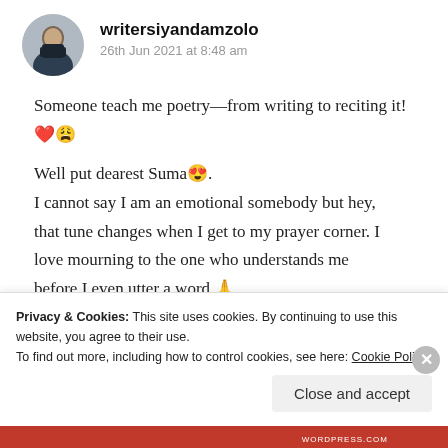[Figure (photo): Circular avatar photo of a man in a suit sitting, used as profile picture for user writersiyandamzolo]
writersiyandamzolo
26th Jun 2021 at 8:48 am
Someone teach me poetry—from writing to reciting it! ❤️😩
Well put dearest Suma😍.
I cannot say I am an emotional somebody but hey, that tune changes when I get to my prayer corner. I love mourning to the one who understands me before I even utter a word 🙏.
Privacy & Cookies: This site uses cookies. By continuing to use this website, you agree to their use.
To find out more, including how to control cookies, see here: Cookie Policy
Close and accept